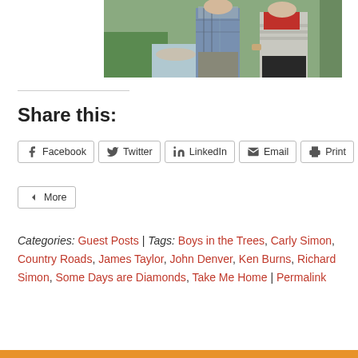[Figure (photo): Partial photo of two people standing outdoors near water, one wearing a plaid shirt and the other wearing a red scarf and striped sweater]
Share this:
Facebook | Twitter | LinkedIn | Email | Print | More
Categories: Guest Posts | Tags: Boys in the Trees, Carly Simon, Country Roads, James Taylor, John Denver, Ken Burns, Richard Simon, Some Days are Diamonds, Take Me Home | Permalink